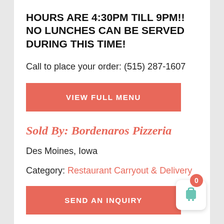HOURS ARE 4:30PM TILL 9PM!!  NO LUNCHES CAN BE SERVED DURING THIS TIME!
Call to place your order: (515) 287-1607
[Figure (other): Red button labeled VIEW FULL MENU]
Sold By: Bordenaros Pizzeria
Des Moines, Iowa
Category: Restaurant Carryout & Delivery
[Figure (other): Red button labeled SEND AN INQUIRY]
[Figure (other): Shopping cart widget with badge showing 0]